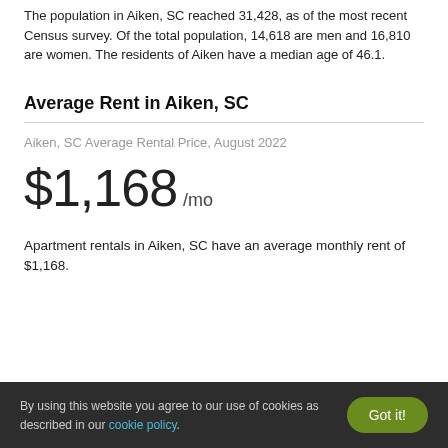The population in Aiken, SC reached 31,428, as of the most recent Census survey. Of the total population, 14,618 are men and 16,810 are women. The residents of Aiken have a median age of 46.1.
Average Rent in Aiken, SC
Aiken, SC Average Rental Price, August 2022
$1,168 /mo
Apartment rentals in Aiken, SC have an average monthly rent of $1,168.
By using this website you agree to our use of cookies as described in our cookie policy.